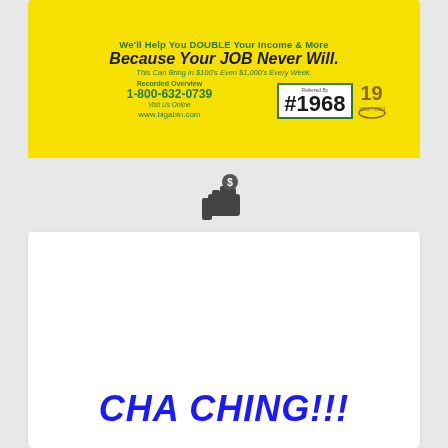[Figure (photo): Yellow advertisement image showing text about doubling income, phone number 1-800-632-0739, #1968 badge, and website www.bigabin.com]
[Figure (illustration): Dark gray hand holding money/cash icon]
LEARN HOW TO RECEIVE UNLIMITED $75 MONT...
Check with seller
August 24, 2022
CHA CHING!!!